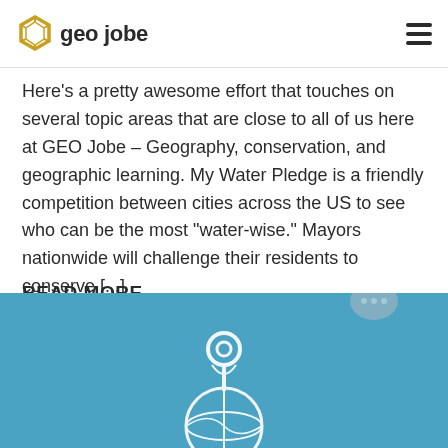geo jobe
Here's a pretty awesome effort that touches on several topic areas that are close to all of us here at GEO Jobe – Geography, conservation, and geographic learning. My Water Pledge is a friendly competition between cities across the US to see who can be the most "water-wise." Mayors nationwide will challenge their residents to conserve [...]
READ MORE
[Figure (illustration): Blue banner with a white location pin icon over a globe outline, partially visible at bottom of page]